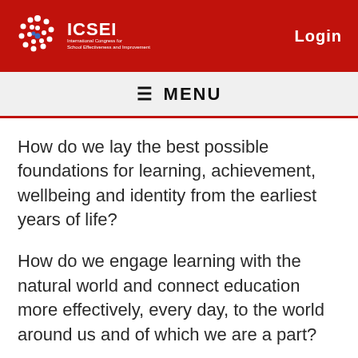ICSEI — International Congress for School Effectiveness and Improvement | Login
≡ MENU
How do we lay the best possible foundations for learning, achievement, wellbeing and identity from the earliest years of life?
How do we engage learning with the natural world and connect education more effectively, every day, to the world around us and of which we are a part?
How do we also engage our teachers and